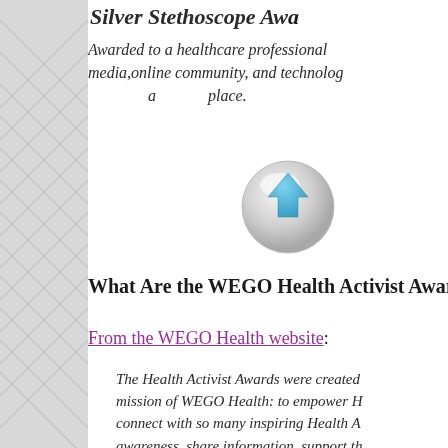Silver Stethoscope Awa…
Awarded to a healthcare professional … media,online community, and technolog… a … place.
[Figure (illustration): A 3D circular button with a blue upward-pointing arrow, light grey background with gloss highlight.]
What Are the WEGO Health Activist Awar…
From the WEGO Health website:
The Health Activist Awards were created … mission of WEGO Health: to empower H… connect with so many inspiring Health A… awareness, share information, support th… and much more - often without recognitio… network is centered around Health Activ…